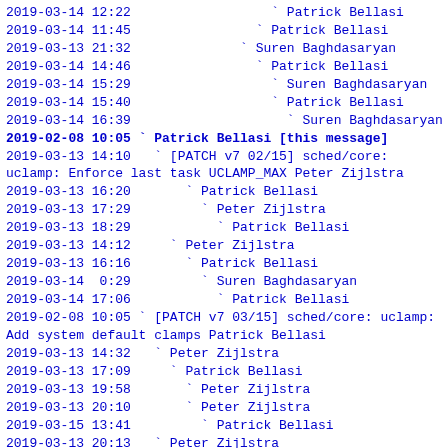2019-03-14 12:22                  ` Patrick Bellasi
2019-03-14 11:45                ` Patrick Bellasi
2019-03-13 21:32              ` Suren Baghdasaryan
2019-03-14 14:46                ` Patrick Bellasi
2019-03-14 15:29                  ` Suren Baghdasaryan
2019-03-14 15:40                  ` Patrick Bellasi
2019-03-14 16:39                    ` Suren Baghdasaryan
2019-02-08 10:05 ` Patrick Bellasi [this message]
2019-03-13 14:10   ` [PATCH v7 02/15] sched/core: uclamp: Enforce last task UCLAMP_MAX Peter Zijlstra
2019-03-13 16:20       ` Patrick Bellasi
2019-03-13 17:29         ` Peter Zijlstra
2019-03-13 18:29           ` Patrick Bellasi
2019-03-13 14:12     ` Peter Zijlstra
2019-03-13 16:16       ` Patrick Bellasi
2019-03-14  0:29         ` Suren Baghdasaryan
2019-03-14 17:06           ` Patrick Bellasi
2019-02-08 10:05 ` [PATCH v7 03/15] sched/core: uclamp: Add system default clamps Patrick Bellasi
2019-03-13 14:32   ` Peter Zijlstra
2019-03-13 17:09     ` Patrick Bellasi
2019-03-13 19:58       ` Peter Zijlstra
2019-03-13 20:10       ` Peter Zijlstra
2019-03-15 13:41         ` Patrick Bellasi
2019-03-13 20:13   ` Peter Zijlstra
2019-03-13 20:18   ` Peter Zijlstra
2019-03-18 12:18     ` Patrick Bellasi
2019-03-18 13:10       ` Peter Zijlstra
2019-03-18 14:21         ` Patrick Bellasi
2019-03-18 14:29         ` Peter Zijlstra